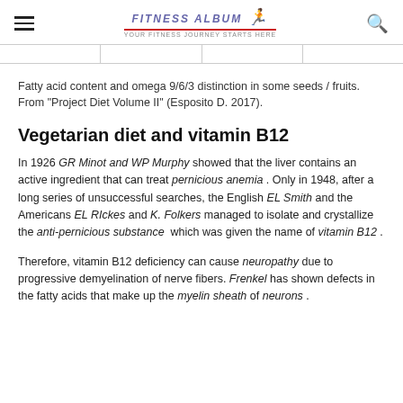FITNESS ALBUM [logo with runner icon]
Fatty acid content and omega 9/6/3 distinction in some seeds / fruits. From “Project Diet Volume II” (Esposito D. 2017).
Vegetarian diet and vitamin B12
In 1926 GR Minot and WP Murphy showed that the liver contains an active ingredient that can treat pernicious anemia. Only in 1948, after a long series of unsuccessful searches, the English EL Smith and the Americans EL RIckes and K. Folkers managed to isolate and crystallize the anti-pernicious substance which was given the name of vitamin B12.
Therefore, vitamin B12 deficiency can cause neuropathy due to progressive demyelination of nerve fibers. Frenkel has shown defects in the fatty acids that make up the myelin sheath of neurons.